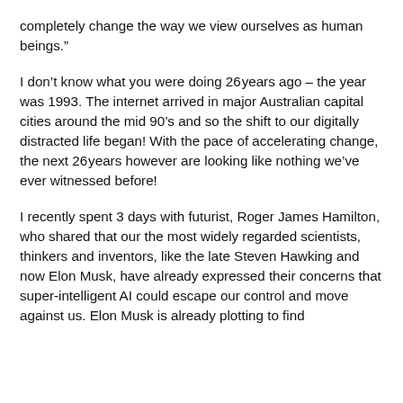completely change the way we view ourselves as human beings.”
I don’t know what you were doing 26 years ago – the year was 1993. The internet arrived in major Australian capital cities around the mid 90’s and so the shift to our digitally distracted life began! With the pace of accelerating change, the next 26 years however are looking like nothing we’ve ever witnessed before!
I recently spent 3 days with futurist, Roger James Hamilton, who shared that our the most widely regarded scientists, thinkers and inventors, like the late Steven Hawking and now Elon Musk, have already expressed their concerns that super-intelligent AI could escape our control and move against us. Elon Musk is already plotting to find